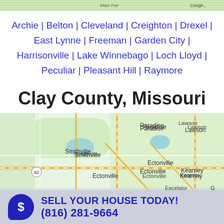[Figure (map): Top strip of a map showing a region, with green terrain and a road label 'Main Pwr' visible at top]
Archie | Belton | Cleveland | Creighton | Drexel | East Lynne | Freeman | Garden City | Harrisonville | Lake Winnebago | Loch Lloyd | Peculiar | Pleasant Hill | Raymore
Clay County, Missouri
[Figure (map): Google Maps view of Clay County, Missouri area showing Paradise, Smithville, Ectonville, Kearney, Lawson, Excelsior and surrounding area with roads and green terrain]
SELL YOUR HOUSE TODAY! (816) 281-9664